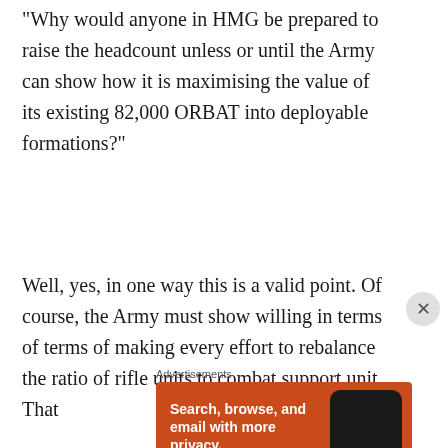“Why would anyone in HMG be prepared to raise the headcount unless or until the Army can show how it is maximising the value of its existing 82,000 ORBAT into deployable formations?”
Well, yes, in one way this is a valid point. Of course, the Army must show willing in terms of terms of making every effort to rebalance the ratio of rifle units to combat support unit. That
[Figure (other): DuckDuckGo advertisement: orange background showing a smartphone with DuckDuckGo logo. Text reads 'Search, browse, and email with more privacy. All in One Free App']